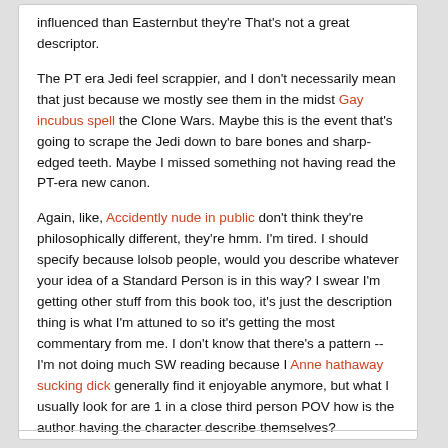influenced than Easternbut they're That's not a great descriptor.

The PT era Jedi feel scrappier, and I don't necessarily mean that just because we mostly see them in the midst Gay incubus spell the Clone Wars. Maybe this is the event that's going to scrape the Jedi down to bare bones and sharp-edged teeth. Maybe I missed something not having read the PT-era new canon.

Again, like, Accidently nude in public don't think they're philosophically different, they're hmm. I'm tired. I should specify because lolsob people, would you describe whatever your idea of a Standard Person is in this way? I swear I'm getting other stuff from this book too, it's just the description thing is what I'm attuned to so it's getting the most commentary from me. I don't know that there's a pattern -- I'm not doing much SW reading because I Anne hathaway sucking dick generally find it enjoyable anymore, but what I usually look for are 1 in a close third person POV how is the author having the character describe themselves?